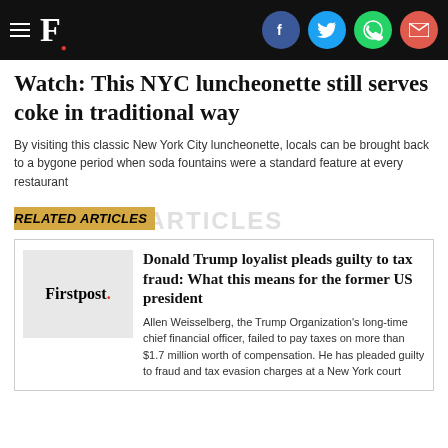F. [Firstpost logo with social icons: Facebook, Twitter, WhatsApp, Email]
Watch: This NYC luncheonette still serves coke in traditional way
By visiting this classic New York City luncheonette, locals can be brought back to a bygone period when soda fountains were a standard feature at every restaurant
RELATED ARTICLES
Donald Trump loyalist pleads guilty to tax fraud: What this means for the former US president
Allen Weisselberg, the Trump Organization's long-time chief financial officer, failed to pay taxes on more than $1.7 million worth of compensation. He has pleaded guilty to fraud and tax evasion charges at a New York court